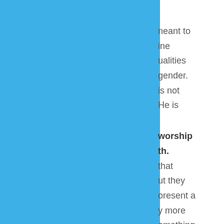meant to
ine
ualities
gender.
is not
He is
worship
th.
that
ut they
oresent a
y more
omething
He is like
ring
ke this